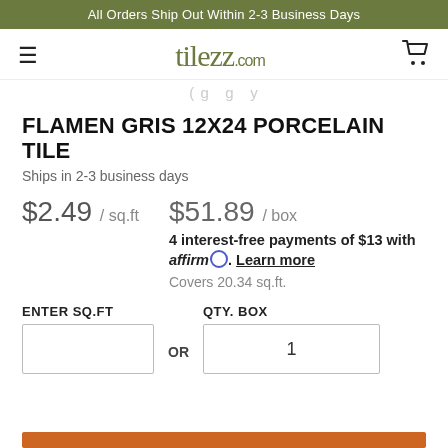All Orders Ship Out Within 2-3 Business Days
[Figure (logo): tilezz.com logo with hamburger menu and shopping cart icon]
( g g y
FLAMEN GRIS 12X24 PORCELAIN TILE
Ships in 2-3 business days
$2.49 / sq.ft
$51.89 / box
4 interest-free payments of $13 with affirm. Learn more
Covers 20.34 sq.ft.
ENTER SQ.FT   OR   QTY. BOX
1